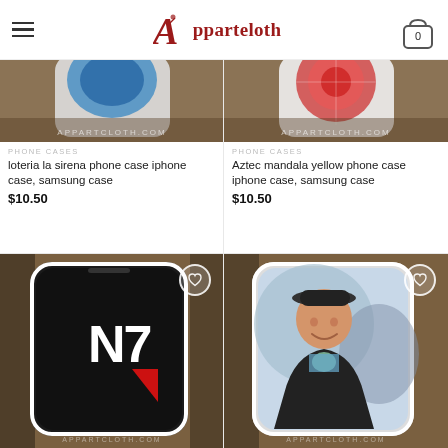Apparteloth
[Figure (photo): Phone case product image for loteria la sirena - partially visible at top]
PHONE CASES
loteria la sirena phone case iphone case, samsung case
$10.50
[Figure (photo): Phone case product image for Aztec mandala yellow - partially visible at top]
PHONE CASES
Aztec mandala yellow phone case iphone case, samsung case
$10.50
[Figure (photo): N7 Mass Effect logo phone case on black background with wishlist heart button]
[Figure (photo): Phone case showing smiling young man photo with wishlist heart button]